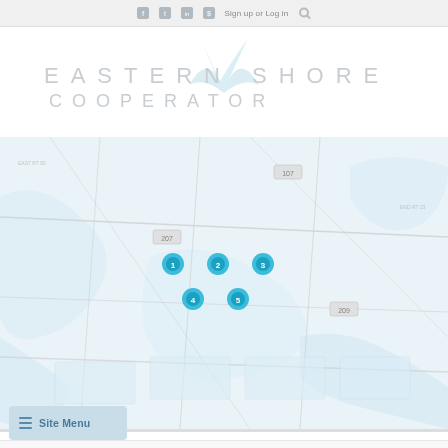Sign up or Log in
[Figure (logo): Eastern Shore Cooperator logo with stylized boat/sail graphic in light blue, text in light gray spaced letterforms reading EASTERN SHORE COOPERATOR]
[Figure (map): Light blue/white road map showing Eastern Shore region with 5 blue circular location markers clustered in the center-left area of the map, road numbers including 107, 207, 209 visible]
Site Menu